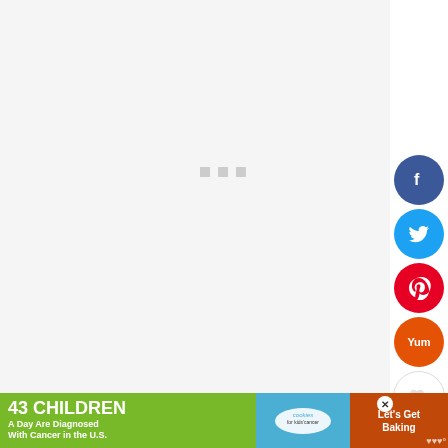[Figure (screenshot): Mostly blank white/light grey webpage area with a loading indicator (three small grey squares) in the center, and a social share sidebar on the right with Facebook, Twitter, Pinterest, Yummly, and heart/save buttons, a count of 107, and a share button.]
[Figure (photo): Bottom portion showing a striped red and white cloth/towel on a sandy surface, partially visible.]
[Figure (screenshot): Advertisement banner at the bottom: green section reading '43 CHILDREN A Day Are Diagnosed With Cancer in the U.S.', middle teal section with 'cookies for kids cancer' logo, right orange-brown section reading 'Let's Get Baking', with a close button and Millennial W logo.]